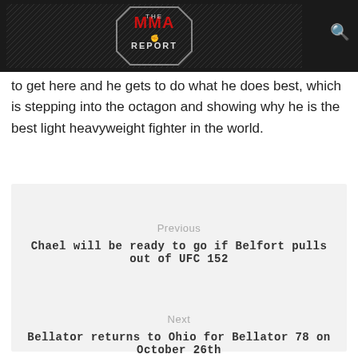The MMA Report
to get here and he gets to do what he does best, which is stepping into the octagon and showing why he is the best light heavyweight fighter in the world.
Previous
Chael will be ready to go if Belfort pulls out of UFC 152
Next
Bellator returns to Ohio for Bellator 78 on October 26th